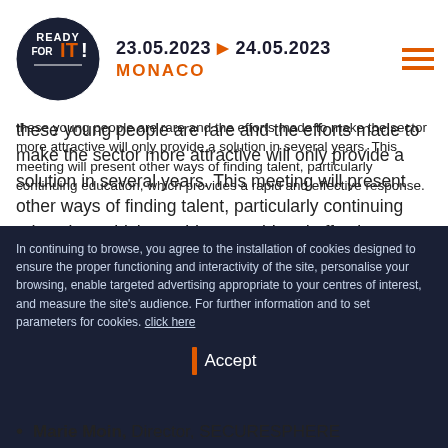23.05.2023 > 24.05.2023 MONACO
these young people are rare and the efforts made to make the sector more attractive will only provide a solution in several years. This meeting will present other ways of finding talent, particularly continuing education, which provides a rapid and effective response.
Moderated by :
Marie Moin, Director, SECURESPHERE
In continuing to browse, you agree to the installation of cookies designed to ensure the proper functioning and interactivity of the site, personalise your browsing, enable targeted advertising appropriate to your centres of interest, and measure the site's audience. For further information and to set parameters for cookies.  click here
Accept